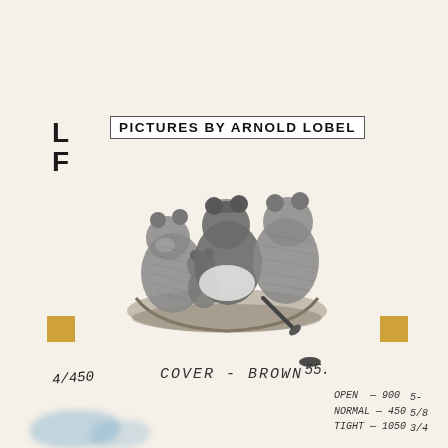L
F
PICTURES BY ARNOLD LOBEL
[Figure (illustration): Pencil sketch of three bear-like figures sitting together in a boat, viewed from behind, with a paddle/oar visible]
COVER - BROWN
55.
4/450
OPEN - 900
NORMAL - 450
TIGHT - 1050
5-
5/8
3/4